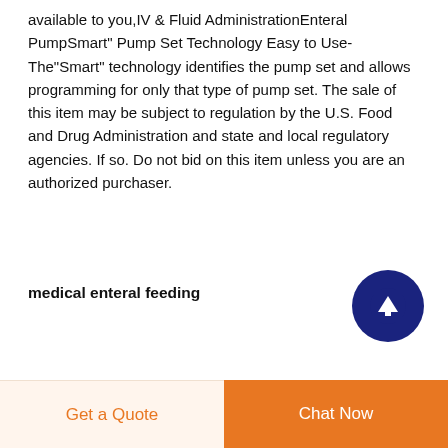available to you,IV & Fluid AdministrationEnteral PumpSmart" Pump Set Technology Easy to Use- The"Smart" technology identifies the pump set and allows programming for only that type of pump set. The sale of this item may be subject to regulation by the U.S. Food and Drug Administration and state and local regulatory agencies. If so. Do not bid on this item unless you are an authorized purchaser.
[Figure (other): Dark navy blue circular button with white upward-pointing arrow icon, used as a scroll-to-top button]
medical enteral feeding
Get a Quote   Chat Now